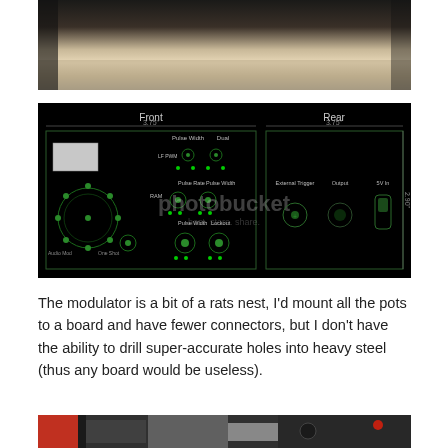[Figure (photo): Top cropped photo showing what appears to be a dark strap or bar against a light wooden or beige surface background.]
[Figure (engineering-diagram): Technical panel layout diagram on black background showing Front and Rear views of an electronic modulator device. Front panel (3.75 inch wide, 2.90 inch tall) shows controls including Pulse Width, Dual, LF PWM, Pulse Rate, Pulse Width, RAM, Pulse Width, Lockout, Audio Mod, One Shot knobs and connectors. Rear panel (3.75 inch wide) shows External Trigger, Output, and 5V In connectors. Labels and controls drawn in green on black background. Photobucket watermark visible.]
The modulator is a bit of a rats nest, I'd mount all the pots to a board and have fewer connectors, but I don't have the ability to drill super-accurate holes into heavy steel (thus any board would be useless).
[Figure (photo): Bottom cropped photo showing electronic components including wires and circuit boards.]